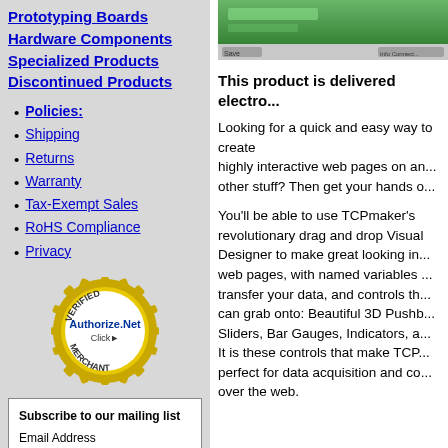Prototyping Boards
Hardware Components
Specialized Products
Discontinued Products
Policies:
Shipping
Returns
Warranty
Tax-Exempt Sales
RoHS Compliance
Privacy
[Figure (logo): Authorize.Net Verified Merchant badge - gold and white circular seal]
Subscribe to our mailing list
Email Address
First Name
[Figure (screenshot): Screenshot of a green software interface window]
This product is delivered electro...
Looking for a quick and easy way to create highly interactive web pages on an... other stuff? Then get your hands o...
You'll be able to use TCPmaker's revolutionary drag and drop Visual Designer to make great looking interactive web pages, with named variables to transfer your data, and controls that users can grab onto: Beautiful 3D Pushbuttons, Sliders, Bar Gauges, Indicators, and more. It is these controls that make TCPmaker perfect for data acquisition and control over the web.